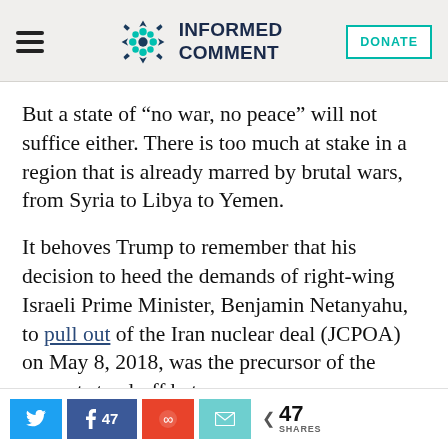Informed Comment
But a state of “no war, no peace” will not suffice either. There is too much at stake in a region that is already marred by brutal wars, from Syria to Libya to Yemen.
It behoves Trump to remember that his decision to heed the demands of right-wing Israeli Prime Minister, Benjamin Netanyahu, to pull out of the Iran nuclear deal (JCPOA) on May 8, 2018, was the precursor of the current stand-off between